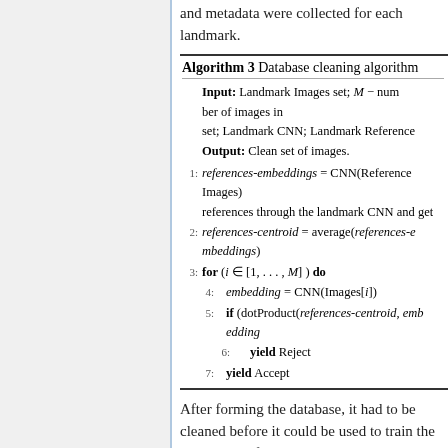and metadata were collected for each landmark.
| Algorithm 3 Database cleaning algorithm |
| --- |
| Input: Landmark Images set; M − num... set; Landmark CNN; Landmark Reference... |
| Output: Clean set of images. |
| 1: references-embeddings = CNN(Reference... references through the landmark CNN a... |
| 2: references-centroid = average(references-e... |
| 3: for (i ∈ [1, . . . , M] ) do |
| 4:    embedding = CNN(Images[i]) |
| 5:    if (dotProduct(references-centroid, emb... |
| 6:       yield Reject |
| 7:    yield Accept |
After forming the database, it had to be cleaned before it could be used to train the CNN. First, for each landmark, any redundant images were removed. Then, for each landmark, 5 images were picked that had a high probability of containing the landmark.